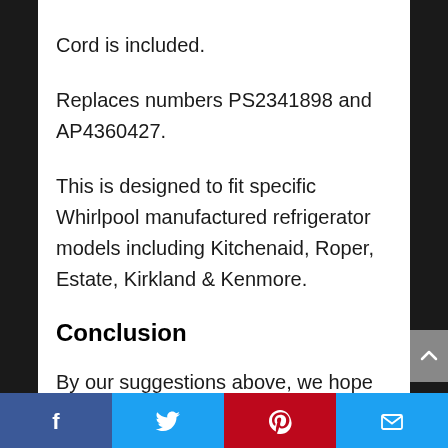Cord is included.
Replaces numbers PS2341898 and AP4360427.
This is designed to fit specific Whirlpool manufactured refrigerator models including Kitchenaid, Roper, Estate, Kirkland & Kenmore.
Conclusion
By our suggestions above, we hope that you can found Whirlpool Side To Side Refrigerator